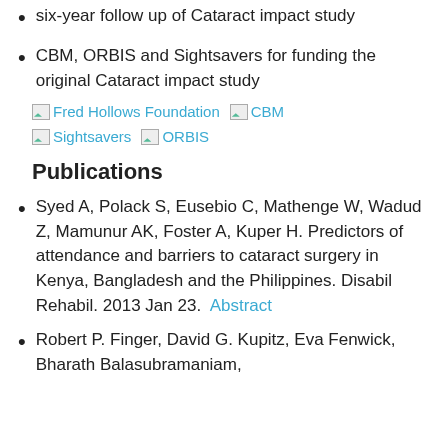six-year follow up of Cataract impact study
CBM, ORBIS and Sightsavers for funding the original Cataract impact study
[Figure (logo): Logos of Fred Hollows Foundation, CBM, Sightsavers, and ORBIS organizations displayed as linked images]
Publications
Syed A, Polack S, Eusebio C, Mathenge W, Wadud Z, Mamunur AK, Foster A, Kuper H. Predictors of attendance and barriers to cataract surgery in Kenya, Bangladesh and the Philippines. Disabil Rehabil. 2013 Jan 23. Abstract
Robert P. Finger, David G. Kupitz, Eva Fenwick, Bharath Balasubramaniam, Ramanutha...